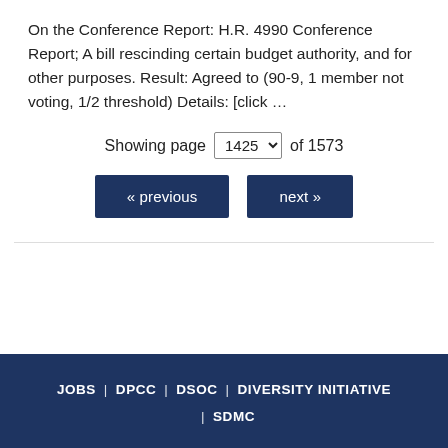On the Conference Report: H.R. 4990 Conference Report; A bill rescinding certain budget authority, and for other purposes. Result: Agreed to (90-9, 1 member not voting, 1/2 threshold) Details: [click …
Showing page 1425 of 1573
« previous   next »
JOBS | DPCC | DSOC | DIVERSITY INITIATIVE | SDMC